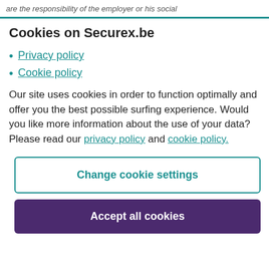are the responsibility of the employer or his social
Cookies on Securex.be
Privacy policy
Cookie policy
Our site uses cookies in order to function optimally and offer you the best possible surfing experience. Would you like more information about the use of your data? Please read our privacy policy and cookie policy.
Change cookie settings
Accept all cookies